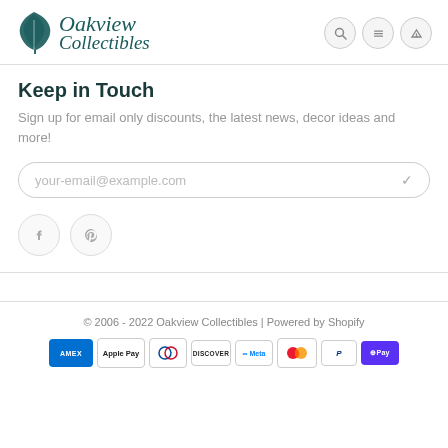Oakview Collectibles
Keep in Touch
Sign up for email only discounts, the latest news, decor ideas and more!
your-email@example.com
[Figure (other): Facebook and Pinterest social media icon buttons (circular outlined buttons)]
© 2006 - 2022 Oakview Collectibles | Powered by Shopify
[Figure (other): Payment method icons: AMEX, Apple Pay, Diners Club, Discover, Meta Pay, Mastercard, PayPal, Shop Pay]